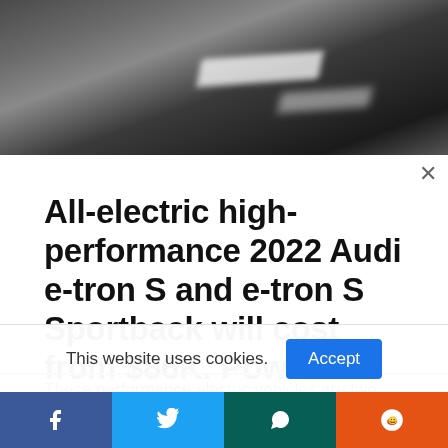[Figure (photo): Blurred motion shot of a dark road surface with white lane markings, suggesting high-speed driving.]
All-electric high-performance 2022 Audi e-tron S and e-tron S Sportback will cost from $86K. Power output is up to 496 hp.
These performance electric vehicles are two
This website uses cookies.
Accept